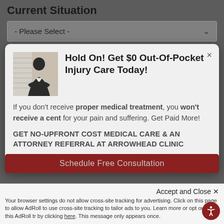Current Situation
[Figure (screenshot): Dropdown selector with '- Please Select -' placeholder text and a chevron arrow on the right, grey background]
Hold On! Get $0 Out-Of-Pocket Injury Care Today!
If you don't receive proper medical treatment, you won't receive a cent for your pain and suffering. Get Paid More!
GET NO-UPFRONT COST MEDICAL CARE & AN ATTORNEY REFERRAL AT ARROWHEAD CLINIC
Schedule Free Consultation
Accept and Close ✕
Your browser settings do not allow cross-site tracking for advertising. Click on this page to allow AdRoll to use cross-site tracking to tailor ads to you. Learn more or opt out of this AdRoll tracking by clicking here. This message only appears once.